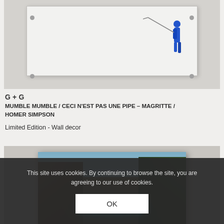[Figure (photo): Framed artwork mounted on wall showing a blue figure with a line/rope, on a light gray/white background. Mounting screws visible at frame corners.]
G + G
MUMBLE MUMBLE / CECI N'EST PAS UNE PIPE – MAGRITTE / HOMER SIMPSON
Limited Edition - Wall decor
[Figure (photo): Framed artwork showing a landscape with trees and the neon word RUMBLE glowing in blue on top of the landscape image.]
This site uses cookies. By continuing to browse the site, you are agreeing to our use of cookies.